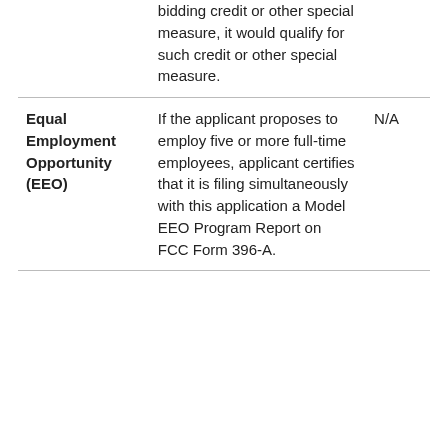|  | bidding credit or other special measure, it would qualify for such credit or other special measure. |  |
| Equal Employment Opportunity (EEO) | If the applicant proposes to employ five or more full-time employees, applicant certifies that it is filing simultaneously with this application a Model EEO Program Report on FCC Form 396-A. | N/A |